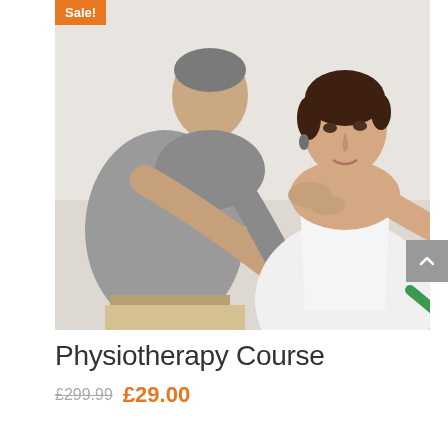[Figure (photo): A male physiotherapist in a grey polo shirt assists a female patient with short dark hair who is performing a resistance band exercise with her arm extended. The physiotherapist is holding her arm/shoulder area. The background is a bright, clinical white room.]
Physiotherapy Course
£299.99 £29.00